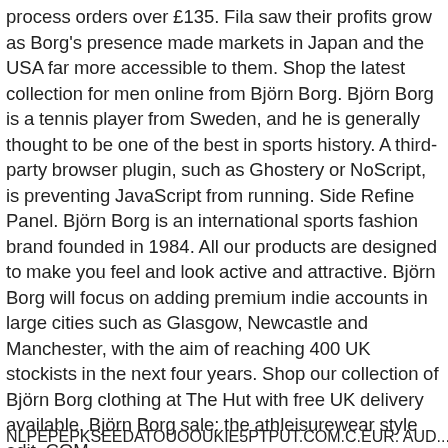process orders over £135. Fila saw their profits grow as Borg's presence made markets in Japan and the USA far more accessible to them. Shop the latest collection for men online from Björn Borg. Björn Borg is a tennis player from Sweden, and he is generally thought to be one of the best in sports history. A third-party browser plugin, such as Ghostery or NoScript, is preventing JavaScript from running. Side Refine Panel. Björn Borg is an international sports fashion brand founded in 1984. All our products are designed to make you feel and look active and attractive. Björn Borg will focus on adding premium indie accounts in large cities such as Glasgow, Newcastle and Manchester, with the aim of reaching 400 UK stockists in the next four years. Shop our collection of Björn Borg clothing at The Hut with free UK delivery available. Björn Borg sale: the athleisurewear style edit. COM
NLPEPEPKSEEDATOUOOUKIE5PTPUT.COM.C.EUR. AUD...